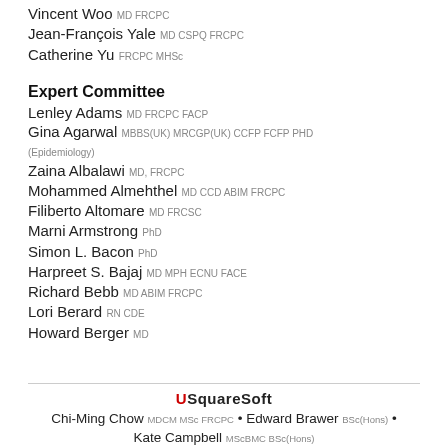Vincent Woo MD FRCPC
Jean-François Yale MD CSPQ FRCPC
Catherine Yu FRCPC MHSc
Expert Committee
Lenley Adams MD FRCPC FACP
Gina Agarwal MBBS(UK) MRCGP(UK) CCFP FCFP PHD (Epidemiology)
Zaina Albalawi MD, FRCPC
Mohammed Almehthel MD CCD ABIM FRCPC
Filiberto Altomare MD FRCSC
Marni Armstrong PhD
Simon L. Bacon PhD
Harpreet S. Bajaj MD MPH ECNU FACE
Richard Bebb MD ABIM FRCPC
Lori Berard RN CDE
Howard Berger MD
USquareSoft • Chi-Ming Chow MDCM MSc FRCPC • Edward Brawer BSc(Hons) • Kate Campbell MScBMC BSc(Hons)